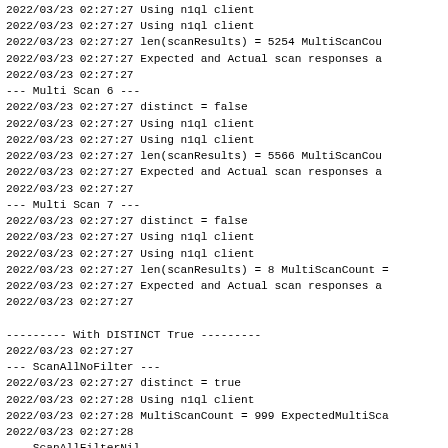2022/03/23 02:27:27 Using n1ql client
2022/03/23 02:27:27 Using n1ql client
2022/03/23 02:27:27 len(scanResults) = 5254 MultiScanCou
2022/03/23 02:27:27 Expected and Actual scan responses a
2022/03/23 02:27:27
--- Multi Scan 6 ---
2022/03/23 02:27:27 distinct = false
2022/03/23 02:27:27 Using n1ql client
2022/03/23 02:27:27 Using n1ql client
2022/03/23 02:27:27 len(scanResults) = 5566 MultiScanCou
2022/03/23 02:27:27 Expected and Actual scan responses a
2022/03/23 02:27:27
--- Multi Scan 7 ---
2022/03/23 02:27:27 distinct = false
2022/03/23 02:27:27 Using n1ql client
2022/03/23 02:27:27 Using n1ql client
2022/03/23 02:27:27 len(scanResults) = 8 MultiScanCount =
2022/03/23 02:27:27 Expected and Actual scan responses a
2022/03/23 02:27:27

--------- With DISTINCT True ---------
2022/03/23 02:27:27
--- ScanAllNoFilter ---
2022/03/23 02:27:27 distinct = true
2022/03/23 02:27:28 Using n1ql client
2022/03/23 02:27:28 MultiScanCount = 999 ExpectedMultiSca
2022/03/23 02:27:28
--- ScanAllFilterNil ---
2022/03/23 02:27:28 distinct = true
2022/03/23 02:27:28 Using n1ql client